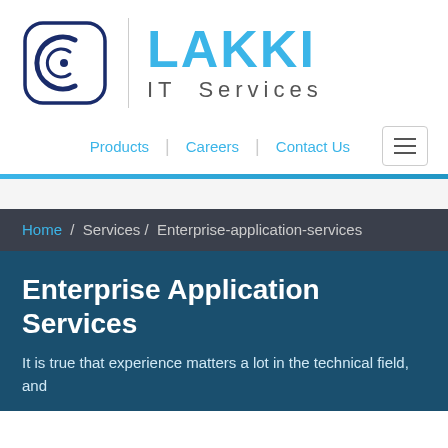[Figure (logo): Lakki IT Services logo with circular C-shaped navy blue icon and vertical divider, followed by LAKKI in large blue bold text and IT Services in grey spaced text]
Products | Careers | Contact Us
Home / Services / Enterprise-application-services
Enterprise Application Services
It is true that experience matters a lot in the technical field, and